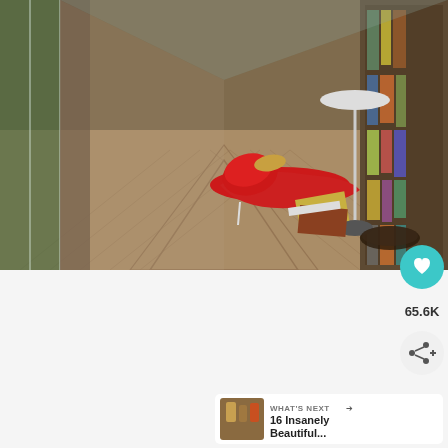[Figure (photo): Interior library scene with herringbone wood plank floor, red leather chaise lounge chair with red cushion, books scattered on floor, tall floor lamp, bookshelves lining both walls with colorful book spines, large glass windows on left showing green trees outside, perspective view down a long corridor]
[Figure (infographic): Social media UI overlay: teal heart/like button showing 65.6K likes count, share button below it, and a 'WHAT'S NEXT' recommendation card showing a thumbnail and text '16 Insanely Beautiful...']